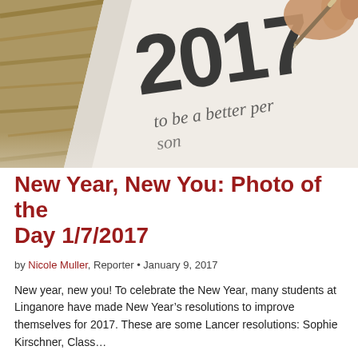[Figure (photo): Close-up photo of a hand holding a pen writing on paper. The paper shows '2017' in large letters and the handwritten text 'to be a better per...' (a New Year's resolution being written). A wooden surface is visible in the upper left corner.]
New Year, New You: Photo of the Day 1/7/2017
by Nicole Muller, Reporter • January 9, 2017
New year, new you! To celebrate the New Year, many students at Linganore have made New Year's resolutions to improve themselves for 2017. These are some Lancer resolutions: Sophie Kirschner, Class...